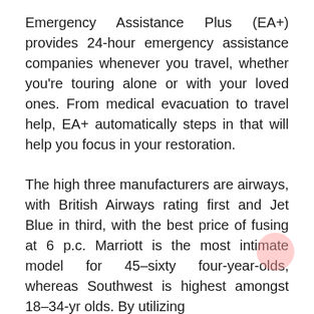Emergency Assistance Plus (EA+) provides 24-hour emergency assistance companies whenever you travel, whether you're touring alone or with your loved ones. From medical evacuation to travel help, EA+ automatically steps in that will help you focus in your restoration.
The high three manufacturers are airways, with British Airways rating first and Jet Blue in third, with the best price of fusing at 6 p.c. Marriott is the most intimate model for 45–sixty four-year-olds, whereas Southwest is highest amongst 18–34-yr olds. By utilizing